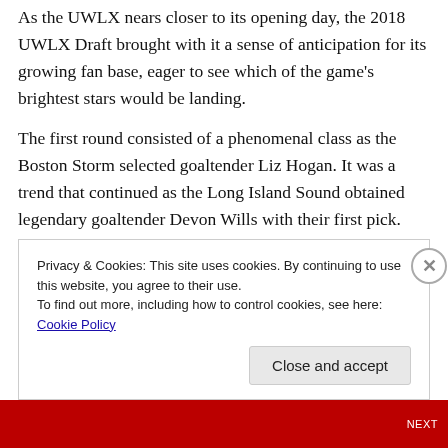As the UWLX nears closer to its opening day, the 2018 UWLX Draft brought with it a sense of anticipation for its growing fan base, eager to see which of the game's brightest stars would be landing.
The first round consisted of a phenomenal class as the Boston Storm selected goaltender Liz Hogan. It was a trend that continued as the Long Island Sound obtained legendary goaltender Devon Wills with their first pick. The first female player to sign a contract in the men's National Lacrosse League, Wills, who also starred with Dartmouth and Team USA is poised to become a star attraction in the
Privacy & Cookies: This site uses cookies. By continuing to use this website, you agree to their use.
To find out more, including how to control cookies, see here: Cookie Policy